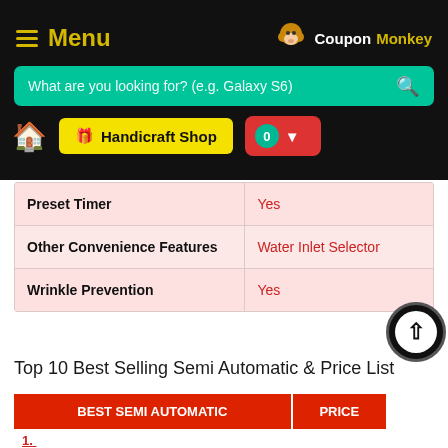Menu | CouponMonkey
What are you looking for? (e.g. Galaxy S6)
🏠 Handicraft Shop | 0
| Feature | Value |
| --- | --- |
| Preset Timer | Yes |
| Other Convenience Features | Water Inlet Selector |
| Wrinkle Prevention | Yes |
Top 10 Best Selling Semi Automatic & Price List
| BEST SEMI AUTOMATIC | PRICE |
| --- | --- |